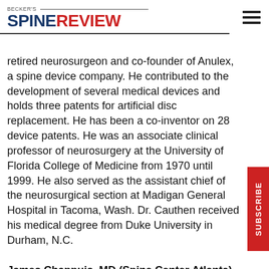BECKER'S SPINE REVIEW
retired neurosurgeon and co-founder of Anulex, a spine device company. He contributed to the development of several medical devices and holds three patents for artificial disc replacement. He has been a co-inventor on 28 device patents. He was an associate clinical professor of neurosurgery at the University of Florida College of Medicine from 1970 until 1999. He also served as the assistant chief of the neurosurgical section at Madigan General Hospital in Tacoma, Wash. Dr. Cauthen received his medical degree from Duke University in Durham, N.C.
James Chappuis, MD (Spine Center Atlanta). Dr. Chappuis is an orthopedic spine surgeon at Spine Center Atlanta who has been